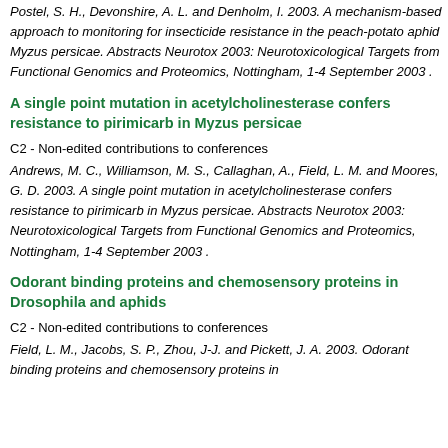Postel, S. H., Devonshire, A. L. and Denholm, I. 2003. A mechanism-based approach to monitoring for insecticide resistance in the peach-potato aphid Myzus persicae. Abstracts Neurotox 2003: Neurotoxicological Targets from Functional Genomics and Proteomics, Nottingham, 1-4 September 2003 .
A single point mutation in acetylcholinesterase confers resistance to pirimicarb in Myzus persicae
C2 - Non-edited contributions to conferences
Andrews, M. C., Williamson, M. S., Callaghan, A., Field, L. M. and Moores, G. D. 2003. A single point mutation in acetylcholinesterase confers resistance to pirimicarb in Myzus persicae. Abstracts Neurotox 2003: Neurotoxicological Targets from Functional Genomics and Proteomics, Nottingham, 1-4 September 2003 .
Odorant binding proteins and chemosensory proteins in Drosophila and aphids
C2 - Non-edited contributions to conferences
Field, L. M., Jacobs, S. P., Zhou, J-J. and Pickett, J. A. 2003. Odorant binding proteins and chemosensory proteins in